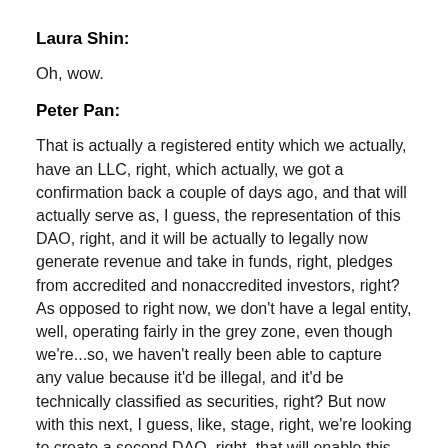Laura Shin:
Oh, wow.
Peter Pan:
That is actually a registered entity which we actually, have an LLC, right, which actually, we got a confirmation back a couple of days ago, and that will actually serve as, I guess, the representation of this DAO, right, and it will be actually to legally now generate revenue and take in funds, right, pledges from accredited and nonaccredited investors, right? As opposed to right now, we don't have a legal entity, well, operating fairly in the grey zone, even though we're...so, we haven't really been able to capture any value because it'd be illegal, and it'd be technically classified as securities, right? But now with this next, I guess, like, stage, right, we're looking to create a second DAO, right, that will enable this possibility to